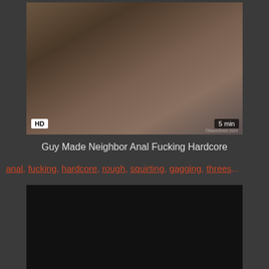[Figure (photo): Video thumbnail showing people in close contact, with HD badge bottom-left and '5 min' duration badge bottom-right]
Guy Made Neighbor Anal Fucking Hardcore
anal, fucking, hardcore, rough, squirting, gagging, threes...
[Figure (photo): Second dark video thumbnail, mostly black]